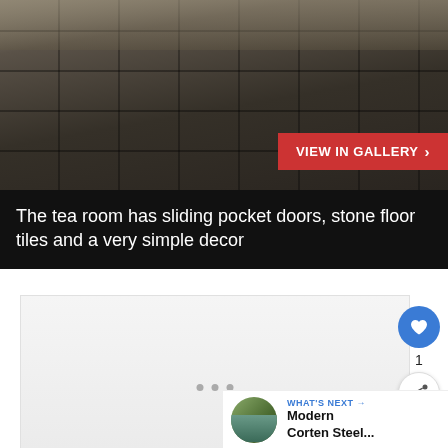[Figure (photo): Interior photo of a tea room with dark stone floor tiles in a grid pattern, sliding pocket doors visible in the background, and simple Japanese-style decor with rocks and a cushion visible.]
The tea room has sliding pocket doors, stone floor tiles and a very simple decor
[Figure (photo): Second photo area showing another view, partially visible, light gray background.]
WHAT'S NEXT → Modern Corten Steel...